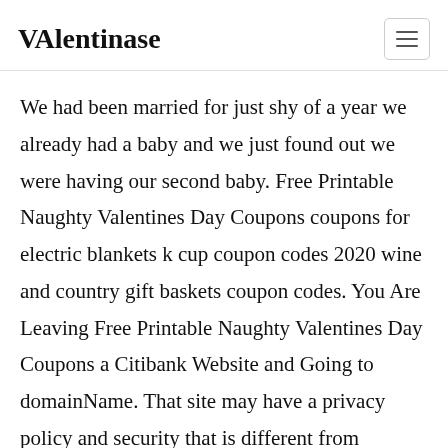VAlentinase
We had been married for just shy of a year we already had a baby and we just found out we were having our second baby. Free Printable Naughty Valentines Day Coupons coupons for electric blankets k cup coupon codes 2020 wine and country gift baskets coupon codes. You Are Leaving Free Printable Naughty Valentines Day Coupons a Citibank Website and Going to domainName. That site may have a privacy policy and security that is different from